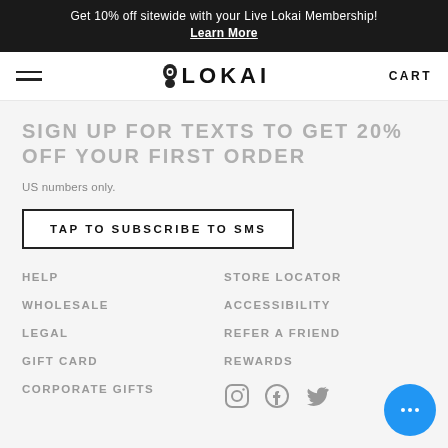Get 10% off sitewide with your Live Lokai Membership! Learn More
LOKAI  CART
SIGN UP FOR TEXTS TO GET 20% OFF YOUR FIRST ORDER
US numbers only.
TAP TO SUBSCRIBE TO SMS
HELP
STORE LOCATOR
WHOLESALE
ACCESSIBILITY
LEGAL
REFER A FRIEND
GIFT CARD
REWARDS
CORPORATE GIFTS
[Figure (logo): Instagram, Facebook, Twitter social icons]